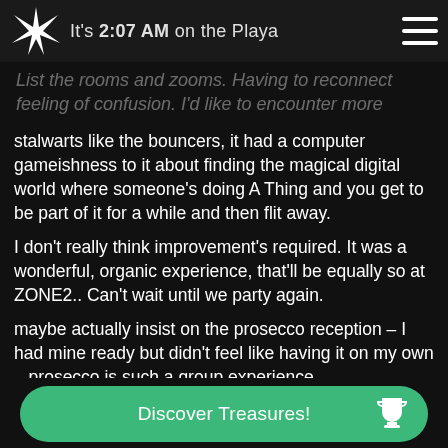It's 2:07 AM on the Playa
List the rooms and zooms. Having to reconnect feeling of confusion. I'd like to encounter more stalwarts like the bouncers, it had a computer gameishness to it about finding the magical digital world where someone's doing A Thing and you get to be part of it for a while and then flit away.
I don't really think improvement's required. It was a wonderful, organic experience, that'll be equally so at ZONE2.. Can't wait until we party again.
maybe actually insist on the prosecco reception – I had mine ready but didn't feel like having it on my own – prosecco is such a group experience..
It was interesting to have a quest to find links to rooms via various room, and as a dedicated person I did gather about 8 of those, but after midnight there was no access to the grand reception, the toilet or kitchen disco, those
Discover Treasures!